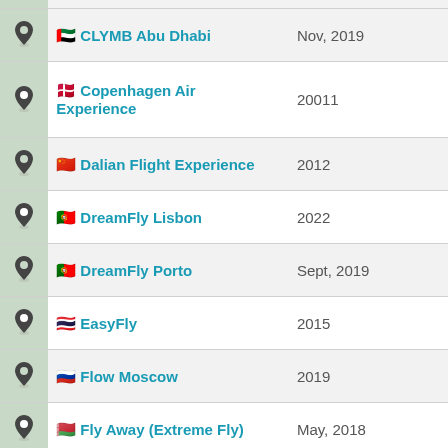|  | Venue | Date |
| --- | --- | --- |
| 📍 | 🇦🇪 CLYMB Abu Dhabi | Nov, 2019 |
| 📍 | 🇩🇰 Copenhagen Air Experience | 20011 |
| 📍 | 🇨🇳 Dalian Flight Experience | 2012 |
| 📍 | 🇵🇹 DreamFly Lisbon | 2022 |
| 📍 | 🇵🇹 DreamFly Porto | Sept, 2019 |
| 📍 | 🇹🇭 EasyFly | 2015 |
| 📍 | 🇷🇺 Flow Moscow | 2019 |
| 📍 | 🇧🇾 Fly Away (Extreme Fly) | May, 2018 |